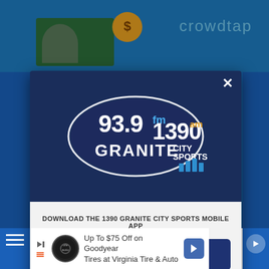[Figure (screenshot): Screenshot of a website with a modal dialog popup for 93.9 FM / 1390 AM Granite City Sports radio station mobile app download prompt, with Amazon Alexa listening option and a Goodyear tire advertisement banner at bottom]
crowdtap
DOWNLOAD THE 1390 GRANITE CITY SPORTS MOBILE APP
GET OUR FREE MOBILE APP
Also listen on: amazon alexa
Up To $75 Off on Goodyear Tires at Virginia Tire & Auto